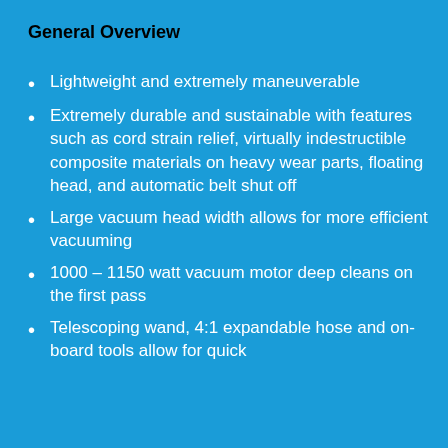General Overview
Lightweight and extremely maneuverable
Extremely durable and sustainable with features such as cord strain relief, virtually indestructible composite materials on heavy wear parts, floating head, and automatic belt shut off
Large vacuum head width allows for more efficient vacuuming
1000 – 1150 watt vacuum motor deep cleans on the first pass
Telescoping wand, 4:1 expandable hose and on-board tools allow for quick